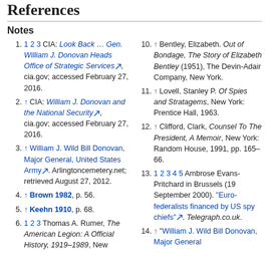References
Notes
1 2 3 CIA: Look Back … Gen. William J. Donovan Heads Office of Strategic Services, cia.gov; accessed February 27, 2016.
↑ CIA: William J. Donovan and the National Security, cia.gov; accessed February 27, 2016.
↑ William J. Wild Bill Donovan, Major General, United States Army. Arlingtoncemetery.net; retrieved August 27, 2012.
↑ Brown 1982, p. 56.
↑ Keehn 1910, p. 68.
1 2 3 Thomas A. Rumer, The American Legion: A Official History, 1919–1989, New
↑ Bentley, Elizabeth. Out of Bondage, The Story of Elizabeth Bentley (1951), The Devin-Adair Company, New York.
↑ Lovell, Stanley P. Of Spies and Stratagems, New York: Prentice Hall, 1963.
↑ Clifford, Clark, Counsel To The President, A Memoir, New York: Random House, 1991, pp. 165–66.
1 2 3 4 5 Ambrose Evans-Pritchard in Brussels (19 September 2000). "Euro-federalists financed by US spy chiefs". Telegraph.co.uk.
↑ "William J. Wild Bill Donovan, Major General